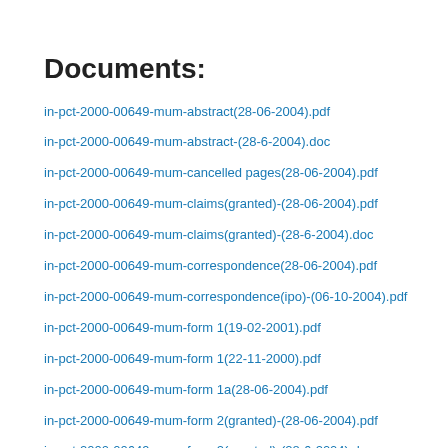Documents:
in-pct-2000-00649-mum-abstract(28-06-2004).pdf
in-pct-2000-00649-mum-abstract-(28-6-2004).doc
in-pct-2000-00649-mum-cancelled pages(28-06-2004).pdf
in-pct-2000-00649-mum-claims(granted)-(28-06-2004).pdf
in-pct-2000-00649-mum-claims(granted)-(28-6-2004).doc
in-pct-2000-00649-mum-correspondence(28-06-2004).pdf
in-pct-2000-00649-mum-correspondence(ipo)-(06-10-2004).pdf
in-pct-2000-00649-mum-form 1(19-02-2001).pdf
in-pct-2000-00649-mum-form 1(22-11-2000).pdf
in-pct-2000-00649-mum-form 1a(28-06-2004).pdf
in-pct-2000-00649-mum-form 2(granted)-(28-06-2004).pdf
in-pct-2000-00649-mum-form 2(granted)-(28-6-2004).doc